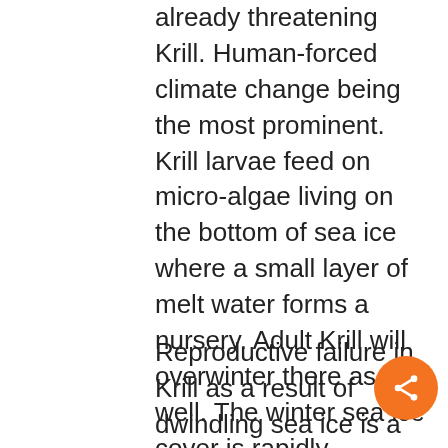already threatening Krill. Human-forced climate change being the most prominent. Krill larvae feed on micro-algae living on the bottom of sea ice where a small layer of melt water forms a nursery. Adult Krill will overwinter there as well. The winter sea ice cover is rapidly dwindling around the Antarctic Peninsula, which has the fastest rising temperatures of the planet, 2.5 degrees C in the last 50 years.
Reproductive failure in Krill as a result of dwindling sea ice is a real risk and will result in breeding failure in birds and seals. Some of these effects are already visible. According to one 2004 estimate based on data covering 40 Antarctic summers, the amount of Krill in the